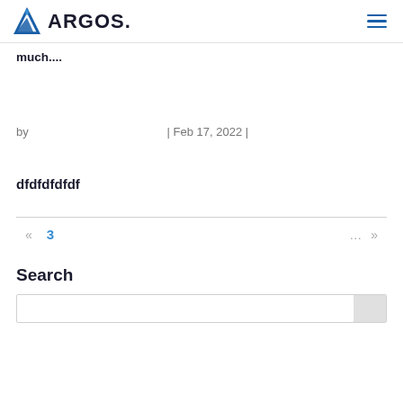ARGOS.
much....
by | Feb 17, 2022 |
dfdfdfdfdf
« 3 ... »
Search